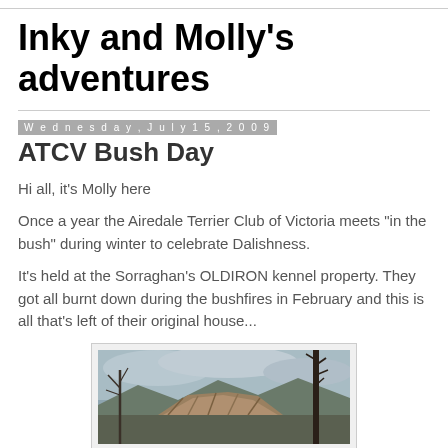Inky and Molly's adventures
Wednesday, July 15, 2009
ATCV Bush Day
Hi all, it's Molly here
Once a year the Airedale Terrier Club of Victoria meets "in the bush" during winter to celebrate Dalishness.
It's held at the Sorraghan's OLDIRON kennel property. They got all burnt down during the bushfires in February and this is all that's left of their original house...
[Figure (photo): Outdoor photo showing a pile of rubble/wood debris with bare trees and a cloudy sky in the background, likely the remains of a burned house.]